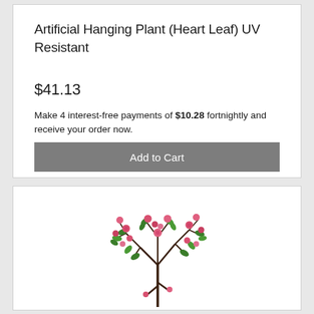Artificial Hanging Plant (Heart Leaf) UV Resistant
$41.13
Make 4 interest-free payments of $10.28 fortnightly and receive your order now.
Add to Cart
[Figure (photo): An artificial flower stem with pink buds and green leaves on a white background]